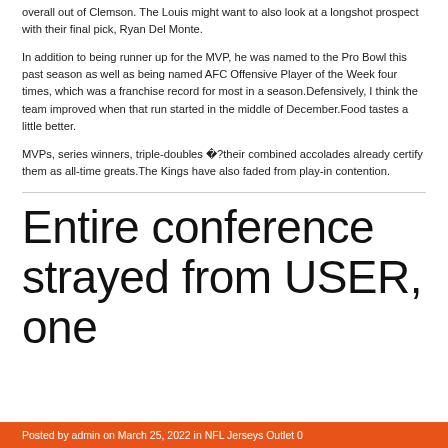overall out of Clemson. The Louis might want to also look at a longshot prospect with their final pick, Ryan Del Monte.
In addition to being runner up for the MVP, he was named to the Pro Bowl this past season as well as being named AFC Offensive Player of the Week four times, which was a franchise record for most in a season.Defensively, I think the team improved when that run started in the middle of December.Food tastes a little better.
MVPs, series winners, triple-doubles �?their combined accolades already certify them as all-time greats.The Kings have also faded from play-in contention.
Entire conference strayed from USER, one
Posted by admin on March 25, 2022 in NFL Jerseys Outlet 0